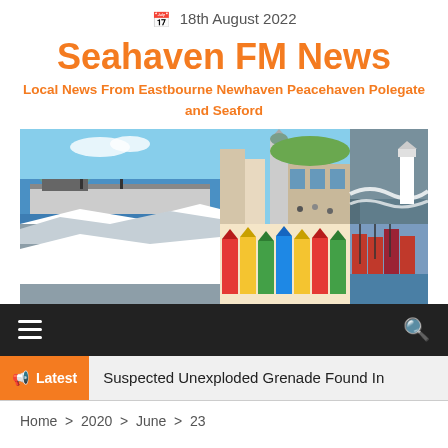18th August 2022
Seahaven FM News
Local News From Eastbourne Newhaven Peacehaven Polegate and Seaford
[Figure (photo): Photo collage of local landmarks: Eastbourne pier and bandstand, white cliffs, town high street, colourful beach huts, a lighthouse with waves, and a harbour marina.]
≡    🔍
Latest  Suspected Unexploded Grenade Found In
Home > 2020 > June > 23